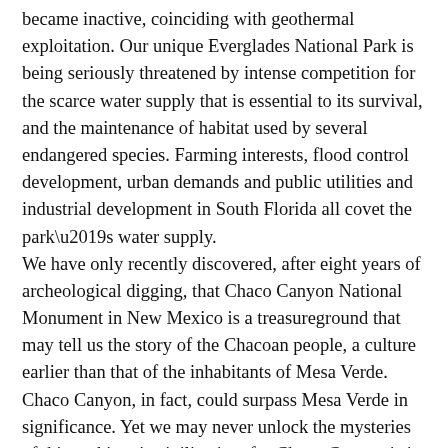became inactive, coinciding with geothermal exploitation. Our unique Everglades National Park is being seriously threatened by intense competition for the scarce water supply that is essential to its survival, and the maintenance of habitat used by several endangered species. Farming interests, flood control development, urban demands and public utilities and industrial development in South Florida all covet the park’s water supply. We have only recently discovered, after eight years of archeological digging, that Chaco Canyon National Monument in New Mexico is a treasureground that may tell us the story of the Chacoan people, a culture earlier than that of the inhabitants of Mesa Verde. Chaco Canyon, in fact, could surpass Mesa Verde in significance. Yet we may never unlock the mysteries of this prehistoric civilization, for Chaco Canyon is in the San Juan Basin, which has one-sixth of the world’s uranium and one-quarter of the U.S. coal reserves. Three prehistoric roads have already been disturbed by uranium exploration. A producing oil well three